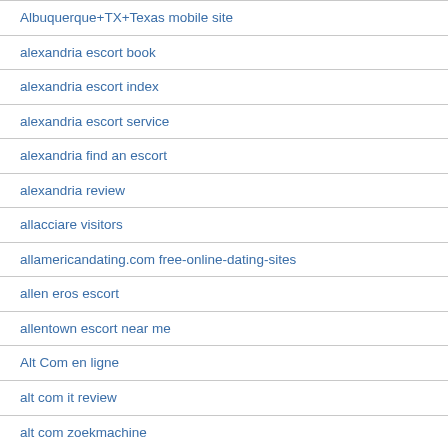Albuquerque+TX+Texas mobile site
alexandria escort book
alexandria escort index
alexandria escort service
alexandria find an escort
alexandria review
allacciare visitors
allamericandating.com free-online-dating-sites
allen eros escort
allentown escort near me
Alt Com en ligne
alt com it review
alt com zoekmachine
alt review
alt Supprimer le compte